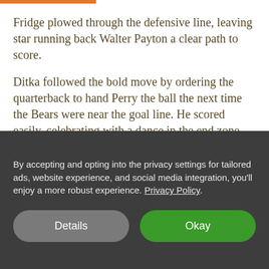Fridge plowed through the defensive line, leaving star running back Walter Payton a clear path to score.
Ditka followed the bold move by ordering the quarterback to hand Perry the ball the next time the Bears were near the goal line. He scored easily, celebrating with a dance in the end zone. He would go on that rookie season to rush for two touchdowns and catch a pass for another.
The... (partially visible/faded text)
By accepting and opting into the privacy settings for tailored ads, website experience, and social media integration, you’ll enjoy a more robust experience. Privacy Policy
Details
Okay